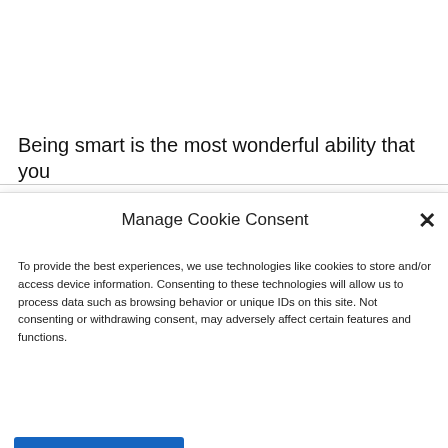Being smart is the most wonderful ability that you
Manage Cookie Consent
To provide the best experiences, we use technologies like cookies to store and/or access device information. Consenting to these technologies will allow us to process data such as browsing behavior or unique IDs on this site. Not consenting or withdrawing consent, may adversely affect certain features and functions.
[Figure (screenshot): Media player overlay showing 'No compatible source was found for this media.' with a close button and partially visible watermark text]